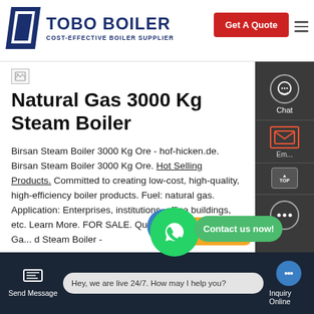TOBO BOILER - COST-EFFECTIVE BOILER SUPPLIER | Get A Quote
[Figure (illustration): Broken image placeholder icon]
Natural Gas 3000 Kg Steam Boiler
Birsan Steam Boiler 3000 Kg Ore - hof-hicken.de. Birsan Steam Boiler 3000 Kg Ore. Hot Selling Products. Committed to creating low-cost, high-quality, high-efficiency boiler products. Fuel: natural gas. Application: Enterprises, institutions, office buildings, etc. Learn More. FOR SALE. Quick Ass... Bi... 25T Ga... d Steam Boiler -
Learn More
Send Message | Hey, we are live 24/7. How may I help you? | Inquiry Online